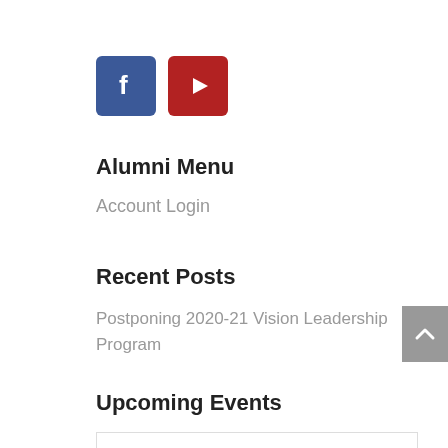[Figure (logo): Facebook icon (blue rounded square with white 'f') and YouTube icon (dark red rounded square with white play button triangle)]
Alumni Menu
Account Login
Recent Posts
Postponing 2020-21 Vision Leadership Program
Upcoming Events
[Figure (other): Empty white box with light border for upcoming events calendar widget]